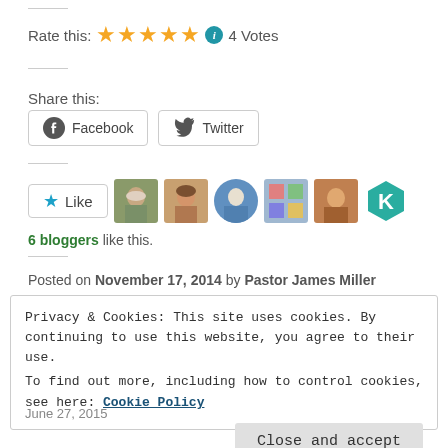Rate this: ★★★★★ ℹ 4 Votes
Share this:
[Figure (other): Facebook and Twitter share buttons]
[Figure (other): Like button with 6 blogger avatars]
6 bloggers like this.
Posted on November 17, 2014 by Pastor James Miller
Privacy & Cookies: This site uses cookies. By continuing to use this website, you agree to their use. To find out more, including how to control cookies, see here: Cookie Policy
Close and accept
June 27, 2015